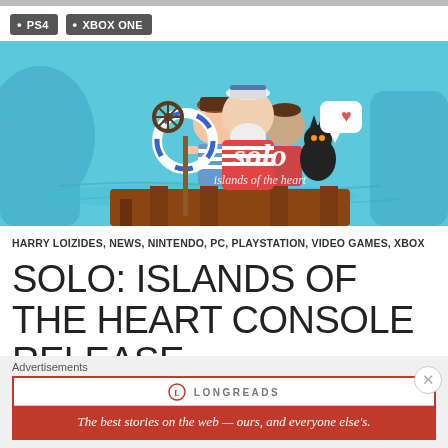PS4 | XBOX ONE
[Figure (illustration): Game artwork for Solo: Islands of the Heart showing cartoon characters (two children and an old sailor with white beard) standing on a dock with blue ocean background. The game logo 'solo islands of the heart' is overlaid on the image.]
HARRY LOIZIDES, NEWS, NINTENDO, PC, PLAYSTATION, VIDEO GAMES, XBOX
SOLO: ISLANDS OF THE HEART CONSOLE RELEASE
Advertisements
[Figure (logo): Longreads advertisement banner. White box with Longreads logo and text 'The best stories on the web — ours, and everyone else's.' on a red background.]